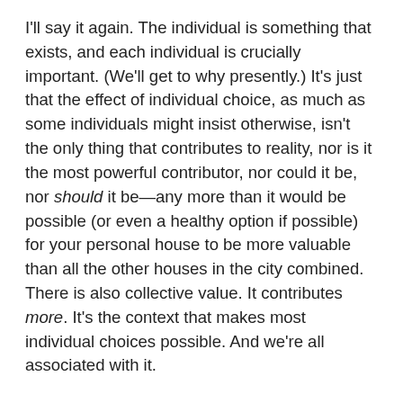I'll say it again. The individual is something that exists, and each individual is crucially important. (We'll get to why presently.) It's just that the effect of individual choice, as much as some individuals might insist otherwise, isn't the only thing that contributes to reality, nor is it the most powerful contributor, nor could it be, nor should it be—any more than it would be possible (or even a healthy option if possible) for your personal house to be more valuable than all the other houses in the city combined. There is also collective value. It contributes more. It's the context that makes most individual choices possible. And we're all associated with it.
Your individual choices simply aren't the outer bounds of human interconnectivity.
And then there's this: you chose to be a hard worker, and a profitable one. But notice what that must mean. It's something easy to miss unless you have eyes for it. Do you see it?
It means that being a hard worker was an available choice. It